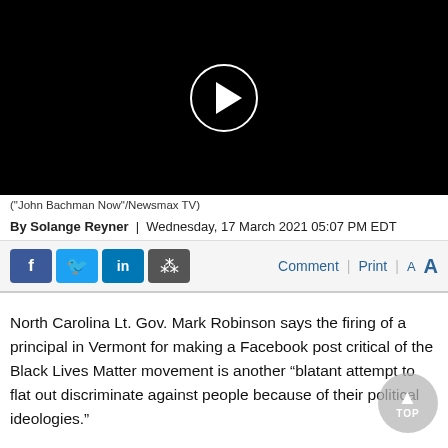[Figure (screenshot): Black video player with a circular play button (white play triangle inside a white circle outline) on a black background.]
("John Bachman Now"/Newsmax TV)
By Solange Reyner  |  Wednesday, 17 March 2021 05:07 PM EDT
[Figure (other): Social sharing bar with Facebook, Twitter, LinkedIn, and share buttons on the left; Comment, Print, and font-size (A A) links on the right.]
North Carolina Lt. Gov. Mark Robinson says the firing of a principal in Vermont for making a Facebook post critical of the Black Lives Matter movement is another “blatant attempt to flat out discriminate against people because of their political ideologies.”
“And that’s just not fair. It’s not the American way and it’s